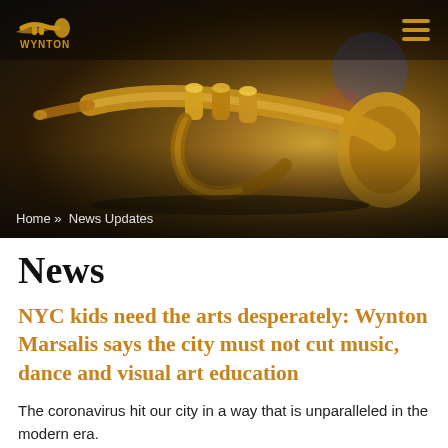[Figure (photo): Hero image of a brass trumpet instrument in warm golden tones against a dark background]
WYNTON (logo with trumpet icon)
Home » News Updates
News
NYC kids need the arts desperately: Wynton Marsalis says the city must not cut music, dance and visual art education
The coronavirus hit our city in a way that is unparalleled in the modern era.